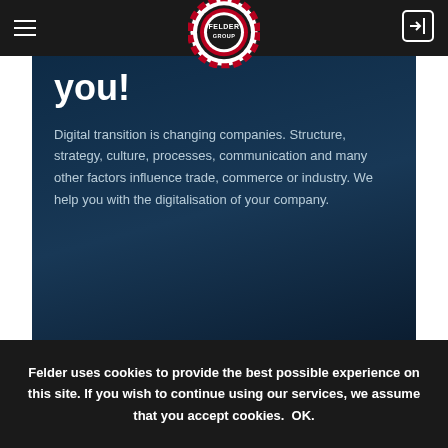[Figure (logo): Felder Group circular gear logo in white and dark red, centered in nav bar]
you!
Digital transition is changing companies. Structure, strategy, culture, processes, communication and many other factors influence trade, commerce or industry. We help you with the digitalisation of your company.
Felder uses cookies to provide the best possible experience on this site. If you wish to continue using our services, we assume that you accept cookies.  OK.